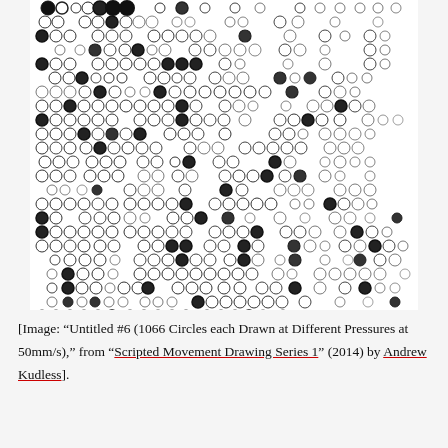[Figure (illustration): A grid of hand-drawn circles of varying sizes and fill pressures arranged in rows, titled 'Untitled #6 (1066 Circles each Drawn at Different Pressures at 50mm/s)' by Andrew Kudless, 2014, from Scripted Movement Drawing Series 1.]
[Image: “Untitled #6 (1066 Circles each Drawn at Different Pressures at 50mm/s),” from “Scripted Movement Drawing Series 1” (2014) by Andrew Kudless].